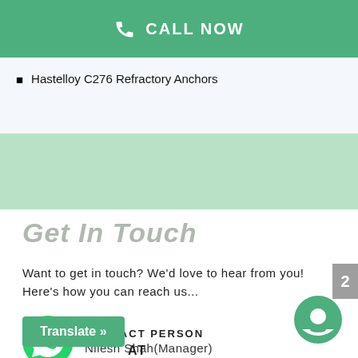CALL NOW
Hastelloy C276 Refractory Anchors
Get In Touch
Want to get in touch? We'd love to hear from you! Here's how you can reach us...
CONTACT PERSON
Nilesh Shah(Manager)
AT
Translate »